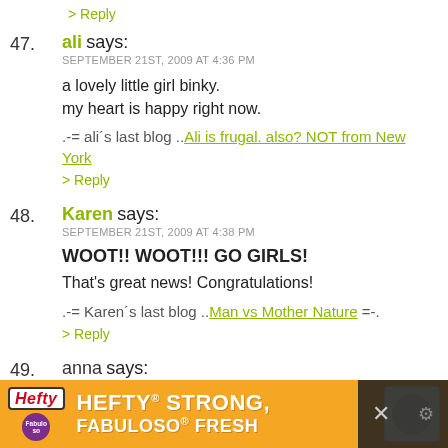> Reply
47. ali says: SEPTEMBER 21ST, 2009 AT 4:36 PM
a lovely little girl binky.
my heart is happy right now.
.-= ali´s last blog ..Ali is frugal. also? NOT from New York
> Reply
48. Karen says: SEPTEMBER 21ST, 2009 AT 4:38 PM
WOOT!! WOOT!!! GO GIRLS!
That's great news! Congratulations!
.-= Karen´s last blog ..Man vs Mother Nature =-.
> Reply
49. anna says: SEPTEMBER 21ST, 2009 AT 4:39 PM
[Figure (screenshot): Hefty HEFTY STRONG, FABULOSO FRESH advertisement banner at bottom of page]